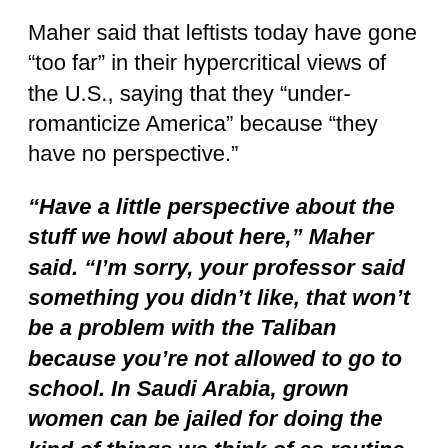Maher said that leftists today have gone “too far” in their hypercritical views of the U.S., saying that they “under-romanticize America” because “they have no perspective.”
“Have a little perspective about the stuff we howl about here,” Maher said. “I’m sorry, your professor said something you didn’t like, that won’t be a problem with the Taliban because you’re not allowed to go to school. In Saudi Arabia, grown women can be jailed for doing the kind of things we think of as routine without the permission of a male guardian. China